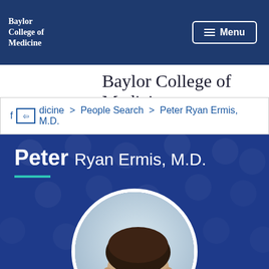Baylor College of Medicine — Menu
Baylor College of Medicine
f Medicine > People Search > Peter Ryan Ermis, M.D.
Peter Ryan Ermis, M.D.
[Figure (photo): Circular portrait photo of Peter Ryan Ermis, M.D., a young man with dark hair, smiling, on a blue background]